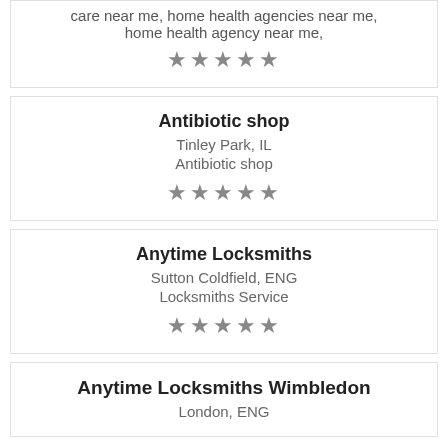care near me, home health agencies near me, home health agency near me,
★★★★★
Antibiotic shop
Tinley Park, IL
Antibiotic shop
★★★★★
Anytime Locksmiths
Sutton Coldfield, ENG
Locksmiths Service
★★★★★
Anytime Locksmiths Wimbledon
London, ENG